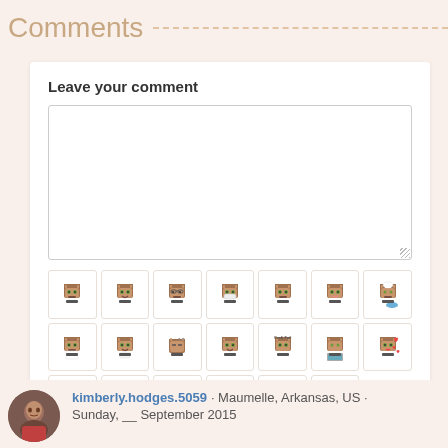Comments
Leave your comment
[Figure (screenshot): Emoji picker grid with pixel-art cat face stickers arranged in 3 rows of 7, 7, and 6 icons]
Post
kimberly.hodges.5059 · Maumelle, Arkansas, US ·